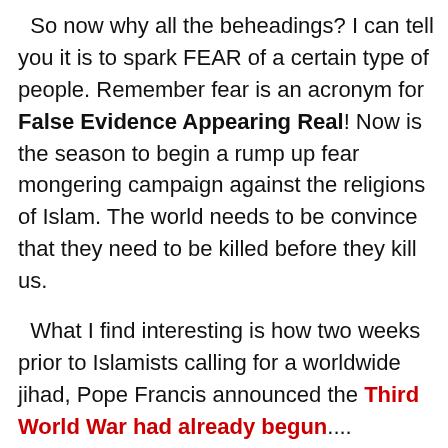So now why all the beheadings? I can tell you it is to spark FEAR of a certain type of people. Remember fear is an acronym for False Evidence Appearing Real! Now is the season to begin a rump up fear mongering campaign against the religions of Islam. The world needs to be convince that they need to be killed before they kill us.
What I find interesting is how two weeks prior to Islamists calling for a worldwide jihad, Pope Francis announced the Third World War had already begun....
https://www.google.com/?